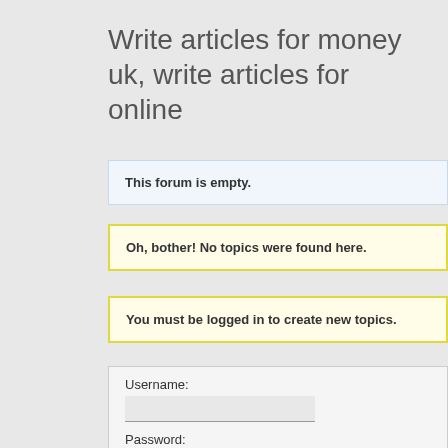Write articles for money uk, write articles for online
This forum is empty.
Oh, bother! No topics were found here.
You must be logged in to create new topics.
Username:
Password:
Keep me signed in